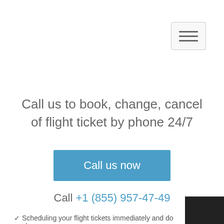[Figure (screenshot): Hamburger menu button (three horizontal lines) in top-right corner, with rounded rectangle border]
Call us to book, change, cancel of flight ticket by phone 24/7
Call us now
Call +1 (855) 957-47-49
✓ Scheduling your flight tickets immediately and do not have